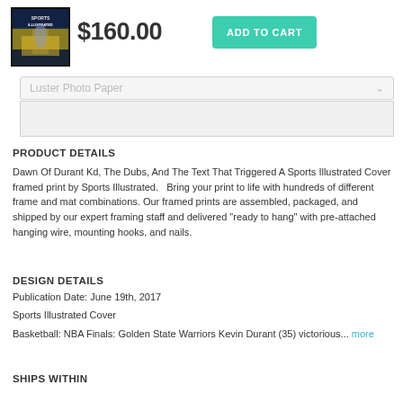[Figure (photo): Small product thumbnail showing a Sports Illustrated magazine cover with a basketball player]
$160.00
ADD TO CART
Luster Photo Paper
PRODUCT DETAILS
Dawn Of Durant Kd, The Dubs, And The Text That Triggered A Sports Illustrated Cover framed print by Sports Illustrated.   Bring your print to life with hundreds of different frame and mat combinations. Our framed prints are assembled, packaged, and shipped by our expert framing staff and delivered "ready to hang" with pre-attached hanging wire, mounting hooks, and nails.
DESIGN DETAILS
Publication Date: June 19th, 2017
Sports Illustrated Cover
Basketball: NBA Finals: Golden State Warriors Kevin Durant (35) victorious... more
SHIPS WITHIN